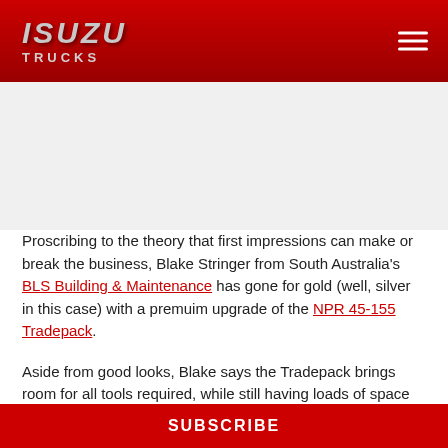ISUZU TRUCKS
[Figure (photo): Isuzu truck image placeholder area]
Proscribing to the theory that first impressions can make or break the business, Blake Stringer from South Australia's BLS Building & Maintenance has gone for gold (well, silver in this case) with a premuim upgrade of the NPR 45-155 Tradepack.
Aside from good looks, Blake says the Tradepack brings room for all tools required, while still having loads of space for building waste and materials.
SUBSCRIBE